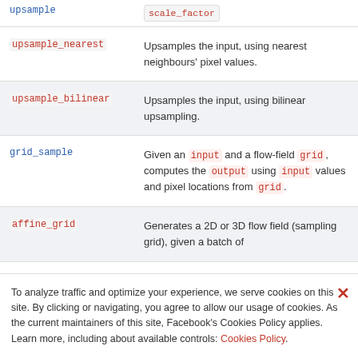| Function | Description |
| --- | --- |
| upsample | scale_factor |
| upsample_nearest | Upsamples the input, using nearest neighbours' pixel values. |
| upsample_bilinear | Upsamples the input, using bilinear upsampling. |
| grid_sample | Given an input and a flow-field grid, computes the output using input values and pixel locations from grid. |
| affine_grid | Generates a 2D or 3D flow field (sampling grid), given a batch of |
To analyze traffic and optimize your experience, we serve cookies on this site. By clicking or navigating, you agree to allow our usage of cookies. As the current maintainers of this site, Facebook's Cookies Policy applies. Learn more, including about available controls: Cookies Policy.